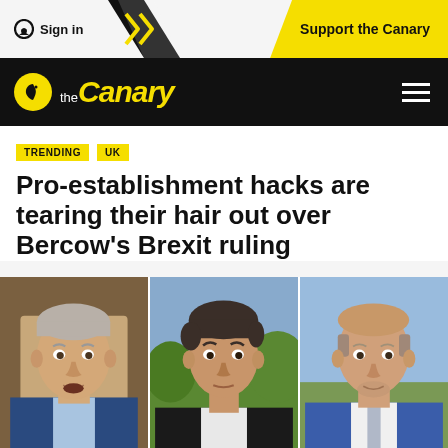Sign in | Support the Canary
[Figure (logo): The Canary logo with yellow bird icon and yellow italic 'Canary' text on black background]
Pro-establishment hacks are tearing their hair out over Bercow's Brexit ruling
[Figure (photo): Three men in a composite photo: left - older man with grey hair in blue suit (John Bercow speaking); centre - younger man with dark hair looking concerned; right - bald man in blue suit outdoors]